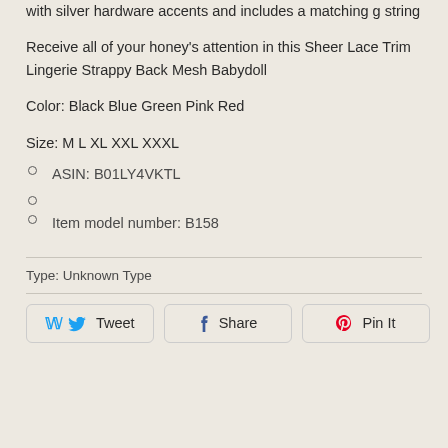with silver hardware accents and includes a matching g string
Receive all of your honey's attention in this Sheer Lace Trim Lingerie Strappy Back Mesh Babydoll
Color: Black Blue Green Pink Red
Size: M L XL XXL XXXL
ASIN: B01LY4VKTL
Item model number: B158
Type: Unknown Type
Tweet  Share  Pin It